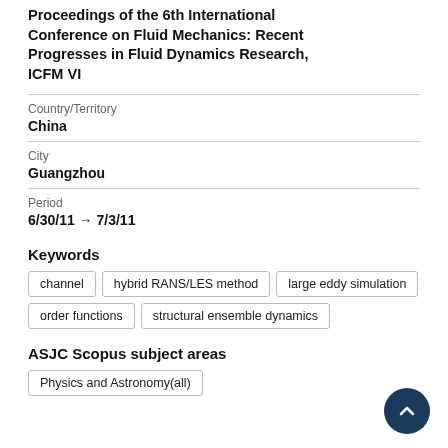Proceedings of the 6th International Conference on Fluid Mechanics: Recent Progresses in Fluid Dynamics Research, ICFM VI
Country/Territory
China
City
Guangzhou
Period
6/30/11 → 7/3/11
Keywords
channel
hybrid RANS/LES method
large eddy simulation
order functions
structural ensemble dynamics
ASJC Scopus subject areas
Physics and Astronomy(all)